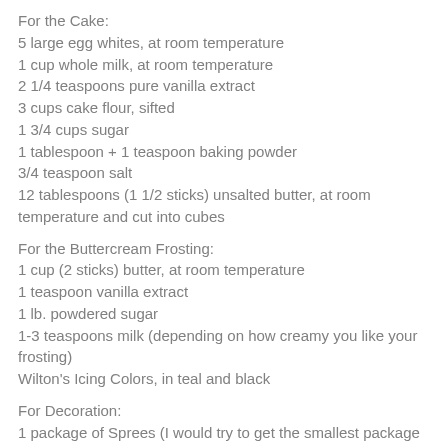For the Cake:
5 large egg whites, at room temperature
1 cup whole milk, at room temperature
2 1/4 teaspoons pure vanilla extract
3 cups cake flour, sifted
1 3/4 cups sugar
1 tablespoon + 1 teaspoon baking powder
3/4 teaspoon salt
12 tablespoons (1 1/2 sticks) unsalted butter, at room temperature and cut into cubes
For the Buttercream Frosting:
1 cup (2 sticks) butter, at room temperature
1 teaspoon vanilla extract
1 lb. powdered sugar
1-3 teaspoons milk (depending on how creamy you like your frosting)
Wilton's Icing Colors, in teal and black
For Decoration:
1 package of Sprees (I would try to get the smallest package possible since you only need 1 green one!)